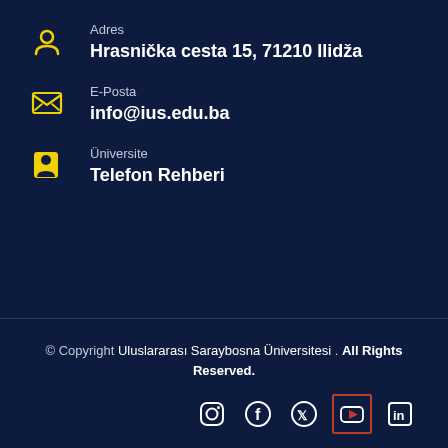Adres
Hrasnička cesta 15, 71210 Ilidža
E-Posta
info@ius.edu.ba
Üniversite
Telefon Rehberi
© Copyright Uluslararası Saraybosna Üniversitesi . All Rights Reserved.